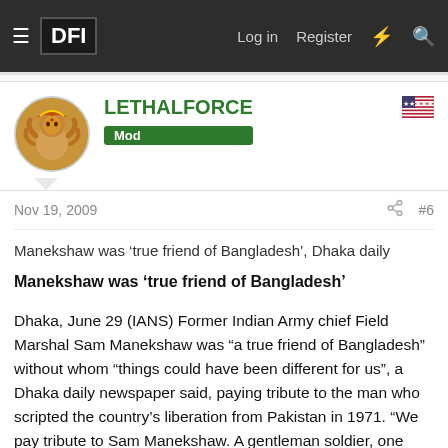DFI | Log in | Register
LETHALFORCE
Mod
Nov 19, 2009
#6
Manekshaw was ‘true friend of Bangladesh’, Dhaka daily
Manekshaw was ‘true friend of Bangladesh’
Dhaka, June 29 (IANS) Former Indian Army chief Field Marshal Sam Manekshaw was “a true friend of Bangladesh” without whom “things could have been different for us”, a Dhaka daily newspaper said, paying tribute to the man who scripted the country’s liberation from Pakistan in 1971. “We pay tribute to Sam Manekshaw. A gentleman soldier, one given to wit that matched his seriousness, he was committed to our cause. Had he not been around in 1971, things could well have been